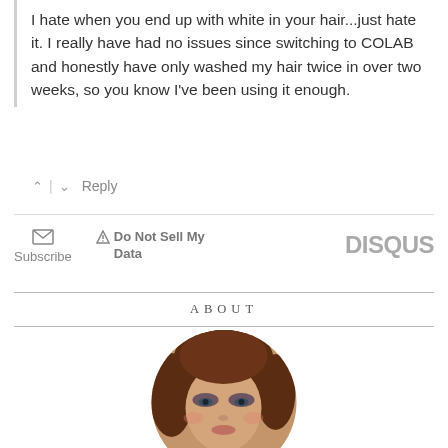I hate when you end up with white in your hair...just hate it. I really have had no issues since switching to COLAB and honestly have only washed my hair twice in over two weeks, so you know I've been using it enough.
^ | v  Reply
Subscribe   Do Not Sell My Data   DISQUS
ABOUT
[Figure (photo): Circular profile photo of Jill Oliver-Fox, a woman with reddish-brown hair, wearing dark eye makeup, looking slightly downward.]
Jill Oliver-Fox is a Toronto based beauty blogger